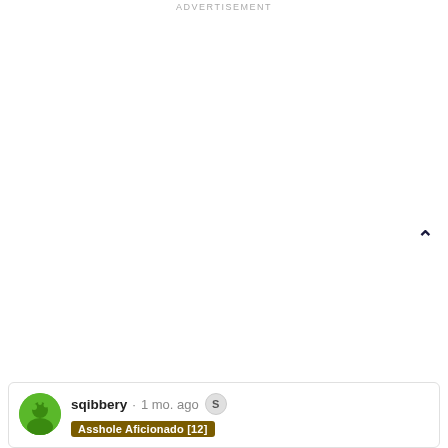ADVERTISEMENT
sqibbery · 1 mo. ago [S]
Asshole Aficionado [12]